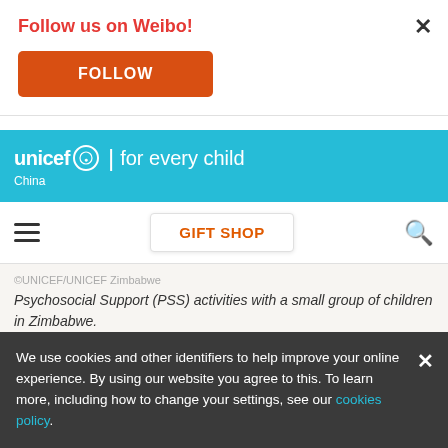Follow us on Weibo!
FOLLOW
[Figure (logo): UNICEF logo bar — blue background with 'unicef for every child China' text in white]
GIFT SHOP
©UNICEF/UNICEF Zimbabwe
Psychosocial Support (PSS) activities with a small group of children in Zimbabwe.
COVID-19 lockdowns delayed and, in some cases
We use cookies and other identifiers to help improve your online experience. By using our website you agree to this. To learn more, including how to change your settings, see our cookies policy.